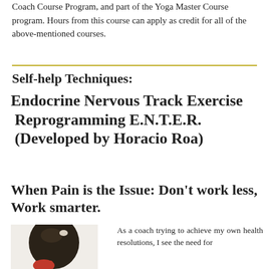Coach Course Program, and part of the Yoga Master Course program. Hours from this course can apply as credit for all of the above-mentioned courses.
Self-help Techniques:
Endocrine Nervous Track Exercise  Reprogramming E.N.T.E.R.  (Developed by Horacio Roa)
When Pain is the Issue: Don't work less, Work smarter.
[Figure (photo): Partial view of a person's head/hair from behind, with a red element visible at the bottom.]
As a coach trying to achieve my own health resolutions, I see the need for